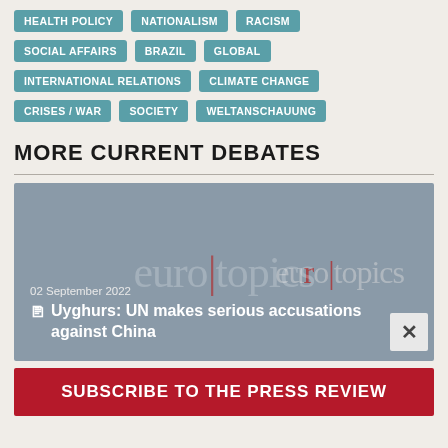HEALTH POLICY
NATIONALISM
RACISM
SOCIAL AFFAIRS
BRAZIL
GLOBAL
INTERNATIONAL RELATIONS
CLIMATE CHANGE
CRISES / WAR
SOCIETY
WELTANSCHAUUNG
MORE CURRENT DEBATES
[Figure (screenshot): News article card with grey background showing euro|topics logo overlay, date '02 September 2022', article icon and title 'Uyghurs: UN makes serious accusations against China', with a close button (X) in bottom right]
SUBSCRIBE TO THE PRESS REVIEW